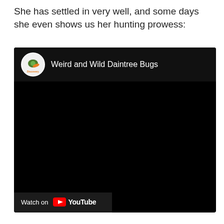She has settled in very well, and some days she even shows us her hunting prowess:
[Figure (screenshot): Embedded YouTube video player showing 'Weird and Wild Daintree Bugs' from the Daintree Discovery channel. The video thumbnail area is black. The bottom-left shows a 'Watch on YouTube' button.]